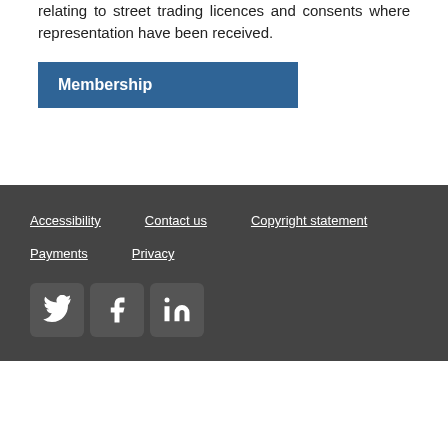relating to street trading licences and consents where representation have been received.
Membership
Accessibility  Contact us  Copyright statement  Payments  Privacy